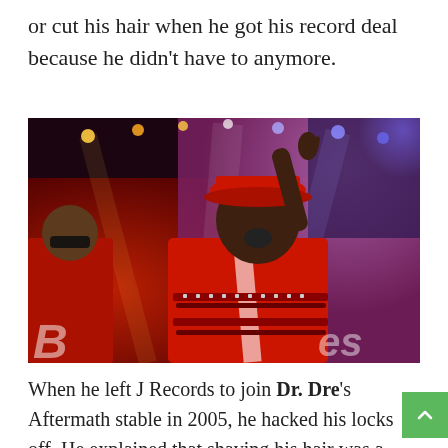or cut his hair when he got his record deal because he didn't have to anymore.
[Figure (photo): A performer in a red leather outfit and red hat pointing upward on a concert stage with red and purple lighting. Another person in red is visible on the left side.]
When he left J Records to join Dr. Dre's Aftermath stable in 2005, he hacked his locks off. He explained that shaving his hair was a metaphor for a fresh start at a new label.